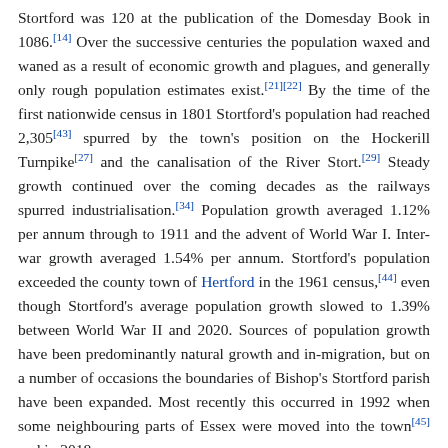Stortford was 120 at the publication of the Domesday Book in 1086.[14] Over the successive centuries the population waxed and waned as a result of economic growth and plagues, and generally only rough population estimates exist.[21][22] By the time of the first nationwide census in 1801 Stortford's population had reached 2,305[43] spurred by the town's position on the Hockerill Turnpike[27] and the canalisation of the River Stort.[29] Steady growth continued over the coming decades as the railways spurred industrialisation.[34] Population growth averaged 1.12% per annum through to 1911 and the advent of World War I. Inter-war growth averaged 1.54% per annum. Stortford's population exceeded the county town of Hertford in the 1961 census,[44] even though Stortford's average population growth slowed to 1.39% between World War II and 2020. Sources of population growth have been predominantly natural growth and in-migration, but on a number of occasions the boundaries of Bishop's Stortford parish have been expanded. Most recently this occurred in 1992 when some neighbouring parts of Essex were moved into the town[45] and in 2018